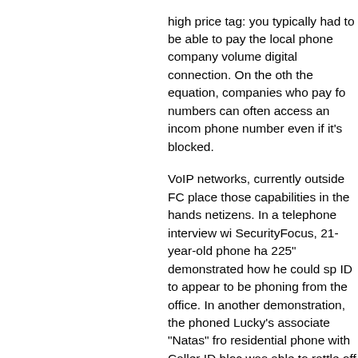high price tag: you typically had to be able to pay the local phone company volume digital connection. On the other side of the equation, companies who pay for DID numbers can often access an incoming caller's phone number even if it's blocked.
VoIP networks, currently outside FCC rules, place those capabilities in the hands of ordinary netizens. In a telephone interview with SecurityFocus, 21-year-old phone hacker "Lucky 225" demonstrated how he could spoof his Caller ID to appear to be phoning from the White House office. In another demonstration, the reporter phoned Lucky's associate "Natas" from a residential phone with Caller ID blocked, and Natas was able to rattle off the unlisted phone number.
As described by Lucky, who's scheduled to give a talk on the subject at the DefCon hacker convention later this month, much Caller ID chicanery can be accomplished by taking advantage of implementation quirks in Voice over IP networks that try, but fail, to implement Caller ID properly. "There are little exploits you can do," says Lucky. But the most powerful...